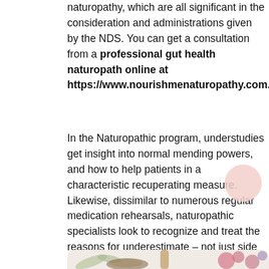naturopathy, which are all significant in the consideration and administrations given by the NDS. You can get a consultation from a professional gut health naturopath online at https://www.nourishmenaturopathy.com.au/dig
In the Naturopathic program, understudies get insight into normal mending powers, and how to help patients in a characteristic recuperating measure. Likewise, dissimilar to numerous regular medication rehearsals, naturopathic specialists look to recognize and treat the reasons for underestimate – not just side effects.
[Figure (photo): A flat-lay photo showing herbs, dried flowers, a wooden pestle or stick, and pink/purple flowers arranged on a light surface, related to naturopathy and herbal medicine.]